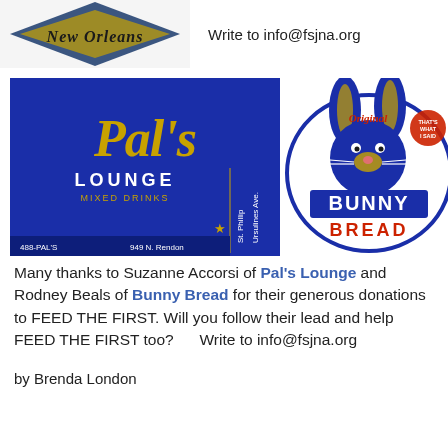[Figure (logo): New Orleans logo/emblem partially visible at top left]
Write to info@fsjna.org
[Figure (logo): Pal's Lounge business card logo - blue background with gold script 'Pal's', 'LOUNGE MIXED DRINKS', 488-PAL'S, 949 N. Rendon, St. Phillip, Ursulines Ave.]
[Figure (logo): Bunny Bread logo - bread-slice shaped with blue bunny character, 'Original', 'BUNNY BREAD' text]
Many thanks to Suzanne Accorsi of Pal's Lounge and Rodney Beals of Bunny Bread for their generous donations to FEED THE FIRST. Will you follow their lead and help FEED THE FIRST too?      Write to info@fsjna.org
by Brenda London